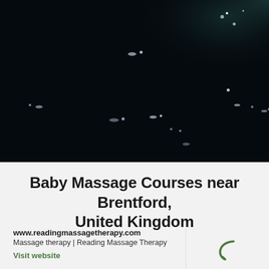[Figure (photo): Dark night sky background with scattered glowing white/light blue star-like points and subtle dark teal highlight in top right corner]
Baby Massage Courses near Brentford, United Kingdom
www.readingmassagetherapy.com
Massage therapy | Reading Massage Therapy
Visit website